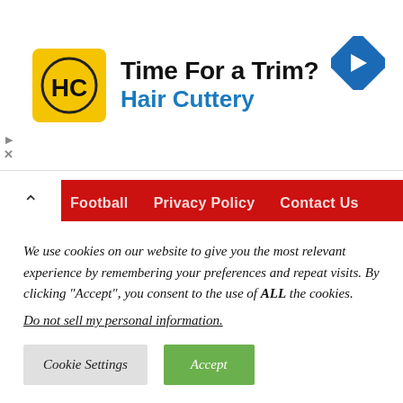[Figure (infographic): Hair Cuttery advertisement banner with yellow HC logo, headline 'Time For a Trim?', brand name 'Hair Cuttery' in blue, and a blue navigation arrow icon on the right.]
Football   Privacy Policy   Contact Us
We use cookies on our website to give you the most relevant experience by remembering your preferences and repeat visits. By clicking “Accept”, you consent to the use of ALL the cookies.
Do not sell my personal information.
Cookie Settings   Accept